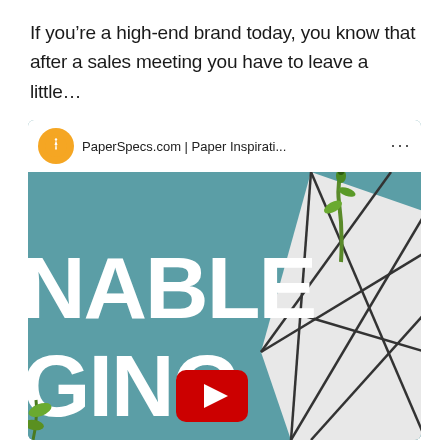If you’re a high-end brand today, you know that after a sales meeting you have to leave a little…
[Figure (screenshot): YouTube video thumbnail from PaperSpecs.com | Paper Inspirati... channel showing text 'NABLE' and 'GING' in large white bold letters on a teal background with geometric paper folding shapes and green plant elements, plus a YouTube play button.]